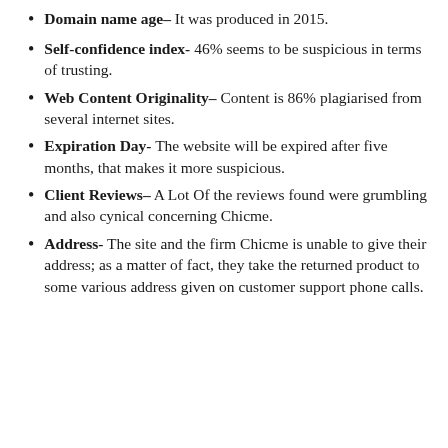Domain name age– It was produced in 2015.
Self-confidence index- 46% seems to be suspicious in terms of trusting.
Web Content Originality– Content is 86% plagiarised from several internet sites.
Expiration Day- The website will be expired after five months, that makes it more suspicious.
Client Reviews– A Lot Of the reviews found were grumbling and also cynical concerning Chicme.
Address- The site and the firm Chicme is unable to give their address; as a matter of fact, they take the returned product to some various address given on customer support phone calls.